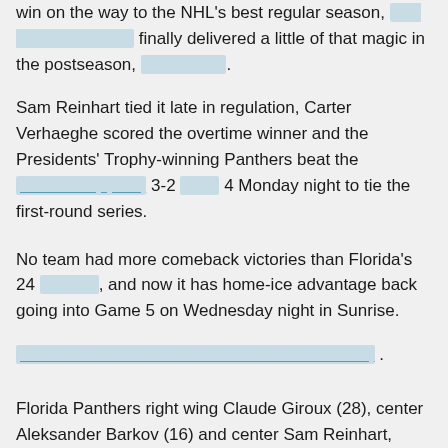win on the way to the NHL's best regular season, and the [redacted] finally delivered a little of that magic in the postseason, [redacted].
Sam Reinhart tied it late in regulation, Carter Verhaeghe scored the overtime winner and the Presidents' Trophy-winning Panthers beat the [redacted] [redacted] 3-2 [redacted] 4 Monday night to tie the first-round series.
No team had more comeback victories than Florida's 24 [redacted], and now it has home-ice advantage back going into Game 5 on Wednesday night in Sunrise.
[redacted link] .
Florida Panthers right wing Claude Giroux (28), center Aleksander Barkov (16) and center Sam Reinhart, [redacted], celebrate Reinhart's goal in the third